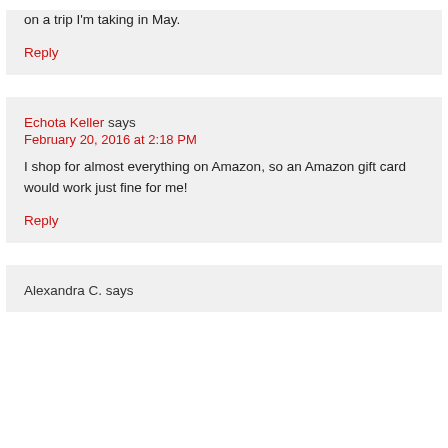on a trip I'm taking in May.
Reply
Echota Keller says
February 20, 2016 at 2:18 PM
I shop for almost everything on Amazon, so an Amazon gift card would work just fine for me!
Reply
Alexandra C. says